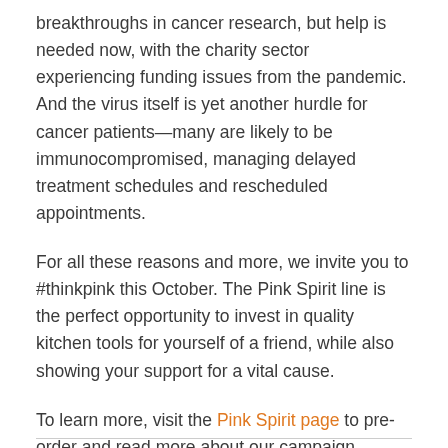breakthroughs in cancer research, but help is needed now, with the charity sector experiencing funding issues from the pandemic. And the virus itself is yet another hurdle for cancer patients—many are likely to be immunocompromised, managing delayed treatment schedules and rescheduled appointments.
For all these reasons and more, we invite you to #thinkpink this October. The Pink Spirit line is the perfect opportunity to invest in quality kitchen tools for yourself of a friend, while also showing your support for a vital cause.
To learn more, visit the Pink Spirit page to pre-order and read more about our campaign.